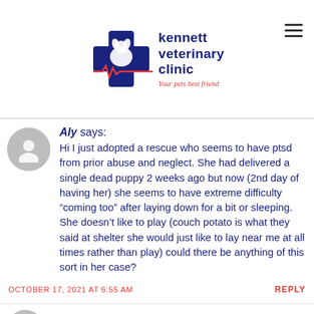[Figure (logo): Kennett Veterinary Clinic logo with blue cross and dog silhouette, red heartbeat line, text 'kennett veterinary clinic' and tagline 'Your pets best friend']
Aly says: Hi I just adopted a rescue who seems to have ptsd from prior abuse and neglect. She had delivered a single dead puppy 2 weeks ago but now (2nd day of having her) she seems to have extreme difficulty “coming too” after laying down for a bit or sleeping. She doesn’t like to play (couch potato is what they said at shelter she would just like to lay near me at all times rather than play) could there be anything of this sort in her case?
OCTOBER 17, 2021 AT 6:55 AM
REPLY
Doc says: